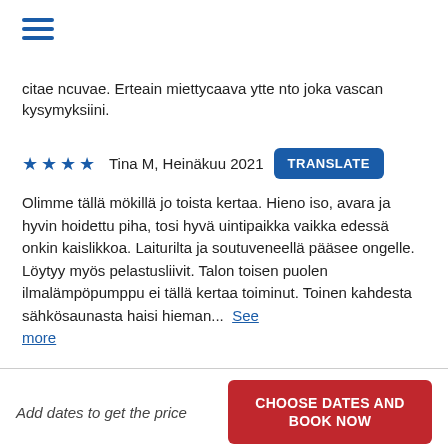[Figure (other): Hamburger menu icon (three horizontal blue lines)]
citae ncuvae. Erteain miettycaava ytte nto joka vascan kysymyksiini.
★★★★   Tina M, Heinäkuu 2021   TRANSLATE
Olimme tällä mökillä jo toista kertaa. Hieno iso, avara ja hyvin hoidettu piha, tosi hyvä uintipaikka vaikka edessä onkin kaislikkoa. Laiturilta ja soutuveneellä pääsee ongelle. Löytyy myös pelastusliivit. Talon toisen puolen ilmalämpöpumppu ei tällä kertaa toiminut. Toinen kahdesta sähkösaunasta haisi hieman...  See more
Add dates to get the price
CHOOSE DATES AND BOOK NOW